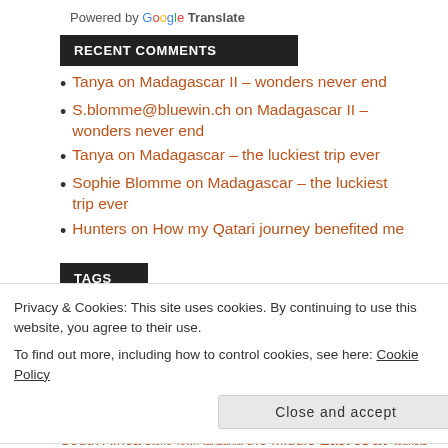Powered by Google Translate
RECENT COMMENTS
Tanya on Madagascar II – wonders never end
S.blomme@bluewin.ch on Madagascar II – wonders never end
Tanya on Madagascar – the luckiest trip ever
Sophie Blomme on Madagascar – the luckiest trip ever
Hunters on How my Qatari journey benefited me
TAGS
Privacy & Cookies: This site uses cookies. By continuing to use this website, you agree to their use.
To find out more, including how to control cookies, see here: Cookie Policy
Close and accept
South Africa Stone Town tanzania the Middle East tour tourists